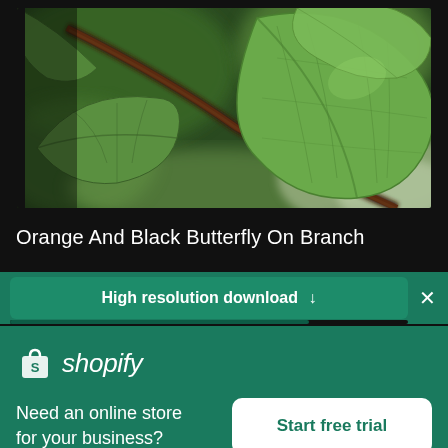[Figure (photo): Close-up photo of green leaves on a dark branch against a blurred green background. The image shows heart-shaped green leaves with visible veins, and a dark woody stem running diagonally.]
Orange And Black Butterfly On Branch
High resolution download ↓
[Figure (logo): Shopify logo — white shopping bag icon with letter S, followed by italic text 'shopify' in white]
Need an online store for your business?
Start free trial